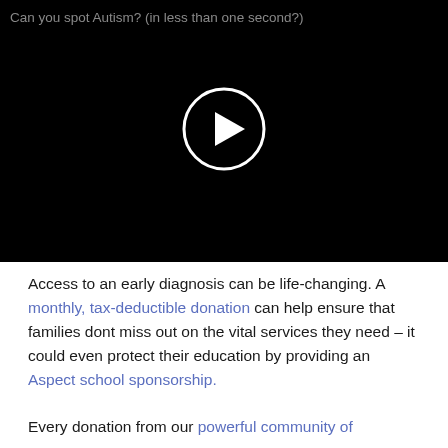[Figure (screenshot): Video player with black background showing title 'Can you spot Autism? (in less than one second?)' and a circular play button in the center.]
Access to an early diagnosis can be life-changing. A monthly, tax-deductible donation can help ensure that families dont miss out on the vital services they need – it could even protect their education by providing an Aspect school sponsorship.
Every donation from our powerful community of